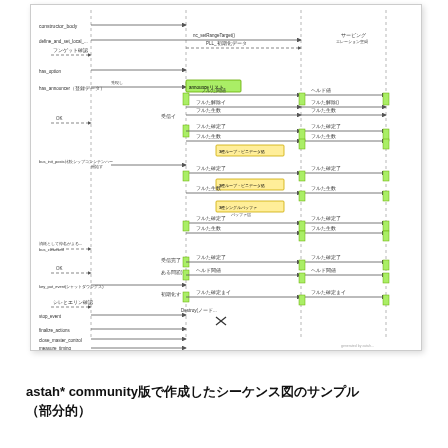[Figure (schematic): UML sequence diagram in Japanese showing interactions between multiple objects/lifelines with various messages, activations (green boxes), and notes (yellow boxes). Shows a software system sequence with calls like constructor_body, define_and_set_local_formation, has_connection, has_announce, has_connector, bus_init_posts, key_put_preset, bus_run_event, initialize_actions, setup_master_control, measure_timing.]
astah* community版で作成したシーケンス図のサンプル
（部分的）